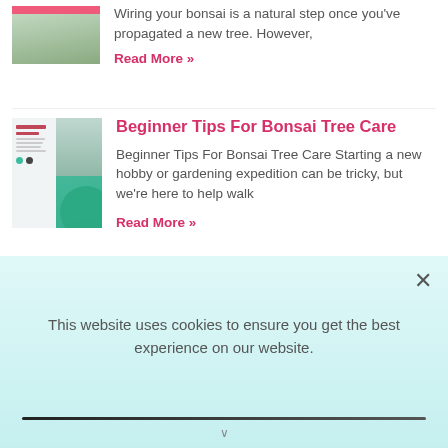[Figure (photo): Thumbnail image of a bonsai-related article, partially visible at top]
Wiring your bonsai is a natural step once you've propagated a new tree. However,
Read More »
[Figure (illustration): Thumbnail image showing a bonsai tips article cover with green circles and small bonsai photo]
Beginner Tips For Bonsai Tree Care
Beginner Tips For Bonsai Tree Care Starting a new hobby or gardening expedition can be tricky, but we're here to help walk
Read More »
This website uses cookies to ensure you get the best experience on our website.